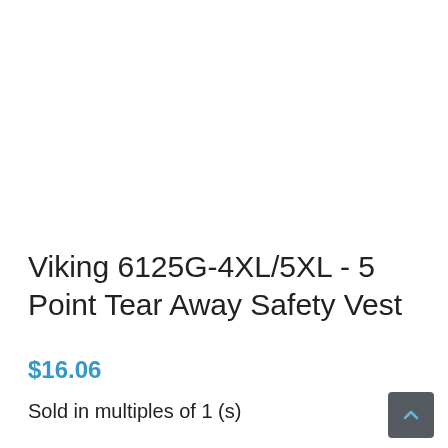Viking 6125G-4XL/5XL - 5 Point Tear Away Safety Vest
$16.06
Sold in multiples of 1 (s)